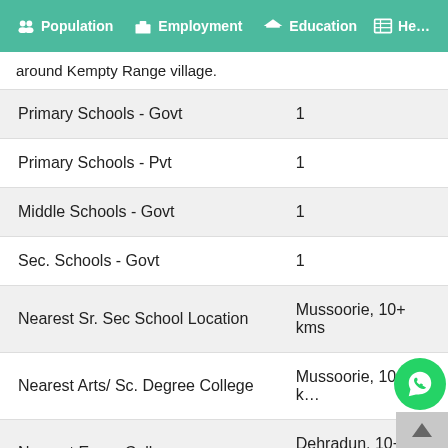Population  Employment  Education  He...
around Kempty Range village.
|  |  |
| --- | --- |
| Primary Schools - Govt | 1 |
| Primary Schools - Pvt | 1 |
| Middle Schools - Govt | 1 |
| Sec. Schools - Govt | 1 |
| Nearest Sr. Sec School Location | Mussoorie, 10+ kms |
| Nearest Arts/ Sc. Degree College | Mussoorie, 10+ kms |
| Nearest Engg. College | Dehradun, 10+ kms |